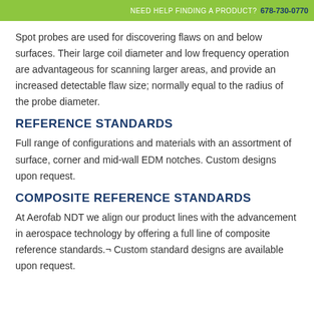NEED HELP FINDING A PRODUCT?  678-730-0770
Spot probes are used for discovering flaws on and below surfaces. Their large coil diameter and low frequency operation are advantageous for scanning larger areas, and provide an increased detectable flaw size; normally equal to the radius of the probe diameter.
REFERENCE STANDARDS
Full range of configurations and materials with an assortment of surface, corner and mid-wall EDM notches. Custom designs upon request.
COMPOSITE REFERENCE STANDARDS
At Aerofab NDT we align our product lines with the advancement in aerospace technology by offering a full line of composite reference standards.¬ Custom standard designs are available upon request.